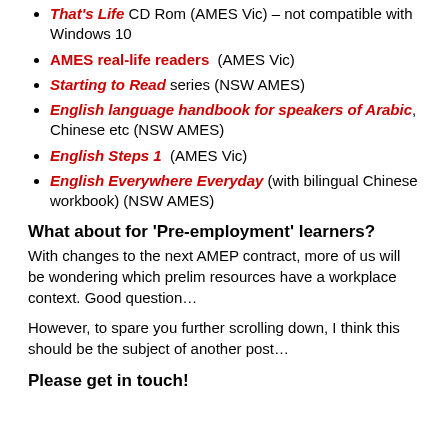That's Life CD Rom (AMES Vic) – not compatible with Windows 10
AMES real-life readers (AMES Vic)
Starting to Read series (NSW AMES)
English language handbook for speakers of Arabic, Chinese etc (NSW AMES)
English Steps 1 (AMES Vic)
English Everywhere Everyday (with bilingual Chinese workbook) (NSW AMES)
What about for 'Pre-employment' learners?
With changes to the next AMEP contract, more of us will be wondering which prelim resources have a workplace context. Good question…
However, to spare you further scrolling down, I think this should be the subject of another post…
Please get in touch!